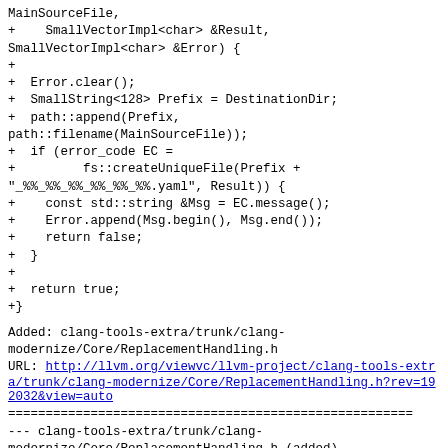MainSourceFile,
+    SmallVectorImpl<char> &Result,
SmallVectorImpl<char> &Error) {
+
+  Error.clear();
+  SmallString<128> Prefix = DestinationDir;
+  path::append(Prefix,
path::filename(MainSourceFile));
+  if (error_code EC =
+         fs::createUniqueFile(Prefix +
"_%%_%%_%%_%%_%%_%%.yaml", Result)) {
+    const std::string &Msg = EC.message();
+    Error.append(Msg.begin(), Msg.end());
+    return false;
+  }
+
+  return true;
+}
Added: clang-tools-extra/trunk/clang-modernize/Core/ReplacementHandling.h
URL: http://llvm.org/viewvc/llvm-project/clang-tools-extra/trunk/clang-modernize/Core/ReplacementHandling.h?rev=192032&view=auto
======================================================
--- clang-tools-extra/trunk/clang-modernize/Core/ReplacementHandling.h (added)
+++ clang-tools-extra/trunk/clang-modernize/Core/ReplacementHandling.h Sat Oct  5
07:15:58 2013